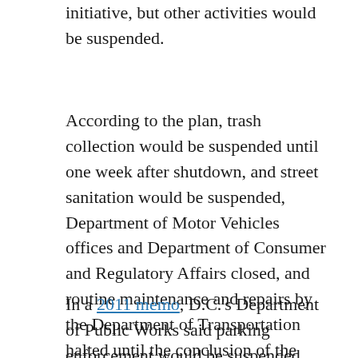initiative, but other activities would be suspended.
According to the plan, trash collection would be suspended until one week after shutdown, and street sanitation would be suspended, Department of Motor Vehicles offices and Department of Consumer and Regulatory Affairs closed, and routine maintenance and repairs by the Department of Transportation halted until the conclusion of the shutdown. Emergency transportation repairs would continue. All D.C. libraries would be closed.
In a 2011 memo, D.C.'s Department of Public Works said parking enforcement would be suspended until the conclusion of the